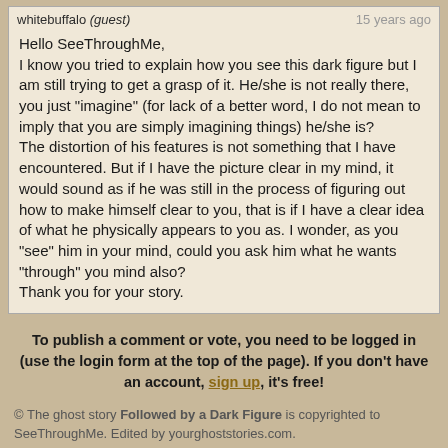whitebuffalo (guest)  |  15 years ago
Hello SeeThroughMe,
I know you tried to explain how you see this dark figure but I am still trying to get a grasp of it. He/she is not really there, you just "imagine" (for lack of a better word, I do not mean to imply that you are simply imagining things) he/she is?
The distortion of his features is not something that I have encountered. But if I have the picture clear in my mind, it would sound as if he was still in the process of figuring out how to make himself clear to you, that is if I have a clear idea of what he physically appears to you as. I wonder, as you "see" him in your mind, could you ask him what he wants "through" you mind also?
Thank you for your story.
To publish a comment or vote, you need to be logged in (use the login form at the top of the page). If you don't have an account, sign up, it's free!
© The ghost story Followed by a Dark Figure is copyrighted to SeeThroughMe. Edited by yourghoststories.com.